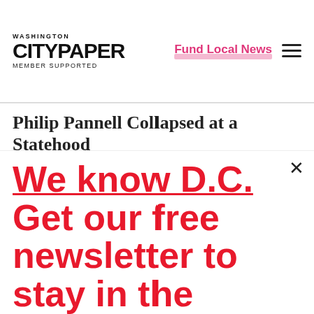Washington City Paper — Member Supported | Fund Local News
Philip Pannell Collapsed at a Statehood
We know D.C. Get our free newsletter to stay in the know.
Enter your email
Sign Up
Unsubscribe any time.